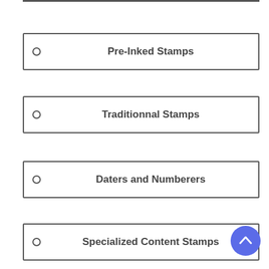Pre-Inked Stamps
Traditionnal Stamps
Daters and Numberers
Specialized Content Stamps